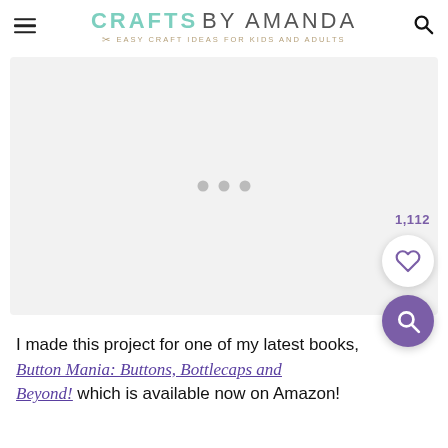CRAFTS BY AMANDA — EASY CRAFT IDEAS FOR KIDS AND ADULTS
[Figure (photo): Large placeholder image area with three gray dots in the center, a heart/like button (1,112 likes) and a magnifying glass zoom button overlaid on the right side.]
I made this project for one of my latest books, Button Mania: Buttons, Bottlecaps and Beyond!, which is available now on Amazon!